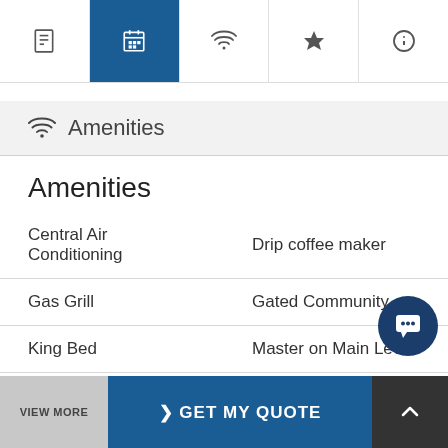Navigation bar with icons: document, calendar (active), wifi, star, help
Amenities
Amenities
Central Air Conditioning
Drip coffee maker
Gas Grill
Gated Community
King Bed
Master on Main Level
Mountain View
Pet Friendly
> GET MY QUOTE